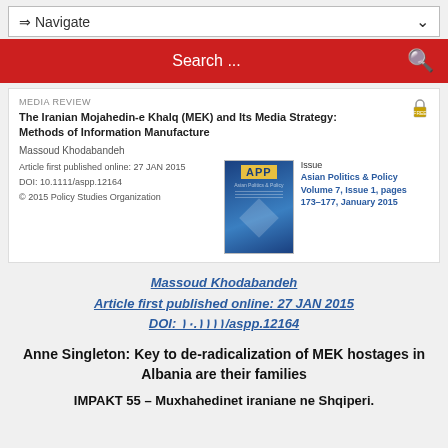⇒ Navigate
Search ...
MEDIA REVIEW
The Iranian Mojahedin-e Khalq (MEK) and Its Media Strategy: Methods of Information Manufacture
Massoud Khodabandeh
Article first published online: 27 JAN 2015
DOI: 10.1111/aspp.12164
© 2015 Policy Studies Organization
Issue
Asian Politics & Policy
Volume 7, Issue 1, pages 173–177, January 2015
Massoud Khodabandeh
Article first published online: 27 JAN 2015
DOI: ۱۰.۱۱۱۱/aspp.12164
Anne Singleton: Key to de-radicalization of MEK hostages in Albania are their families
IMPAKT 55 – Muxhahedinet iraniane ne Shqiperi.